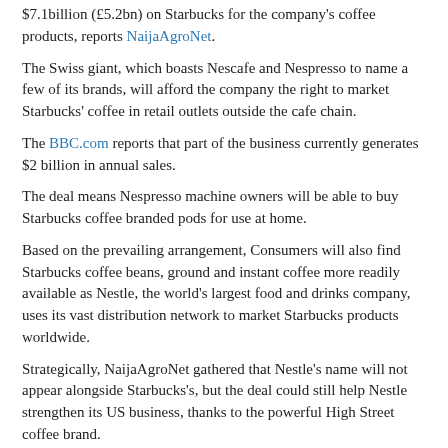$7.1billion (£5.2bn) on Starbucks for the company's coffee products, reports NaijaAgroNet.
The Swiss giant, which boasts Nescafe and Nespresso to name a few of its brands, will afford the company the right to market Starbucks' coffee in retail outlets outside the cafe chain.
The BBC.com reports that part of the business currently generates $2 billion in annual sales.
The deal means Nespresso machine owners will be able to buy Starbucks coffee branded pods for use at home.
Based on the prevailing arrangement, Consumers will also find Starbucks coffee beans, ground and instant coffee more readily available as Nestle, the world's largest food and drinks company, uses its vast distribution network to market Starbucks products worldwide.
Strategically, NaijaAgroNet gathered that Nestle's name will not appear alongside Starbucks's, but the deal could still help Nestle strengthen its US business, thanks to the powerful High Street coffee brand.
Isaac Oyimah/GEE